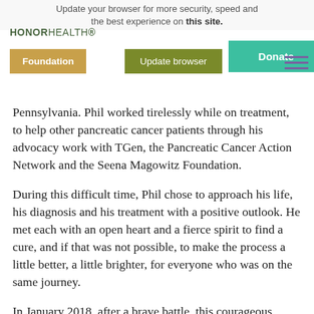Update your browser for more security, speed and the best experience on this site. | HONORHEALTH | Foundation | Update browser | Ignore | Donate
Pennsylvania. Phil worked tirelessly while on treatment, to help other pancreatic cancer patients through his advocacy work with TGen, the Pancreatic Cancer Action Network and the Seena Magowitz Foundation.
During this difficult time, Phil chose to approach his life, his diagnosis and his treatment with a positive outlook. He met each with an open heart and a fierce spirit to find a cure, and if that was not possible, to make the process a little better, a little brighter, for everyone who was on the same journey.
In January 2018, after a brave battle, this courageous warrior died after living with pancreatic cancer for close to four years. True to his word, he made every day, every minute count. To honor her extraordinary husband, and